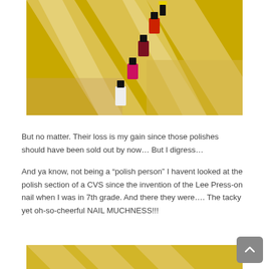[Figure (photo): Photo of multiple nail polish bottles lined up diagonally on a yellow chevron patterned background. Colors visible include red, dark red/maroon, pink, and light/white.]
But no matter. Their loss is my gain since those polishes should have been sold out by now… But I digress…
And ya know, not being a “polish person” I havent looked at the polish section of a CVS since the invention of the Lee Press-on nail when I was in 7th grade. And there they were…. The tacky yet oh-so-cheerful NAIL MUCHNESS!!!
[Figure (photo): Bottom portion of another photo showing a yellow surface, partially visible.]